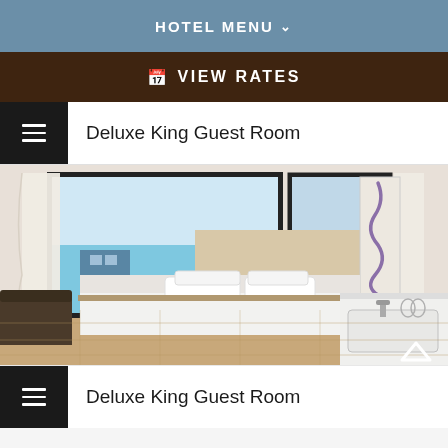HOTEL MENU
VIEW RATES
Deluxe King Guest Room
[Figure (photo): Hotel Deluxe King Guest Room interior photo showing a king bed with white linens, large window with ocean view, decorative wall art, and bathroom vanity area in foreground.]
Deluxe King Guest Room